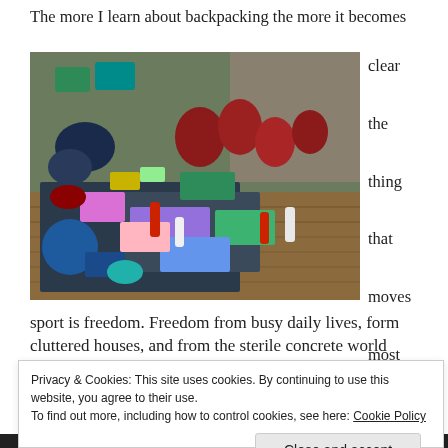The more I learn about backpacking the more it becomes clear the thing that moves most people into the sport is freedom. Freedom from busy daily lives, form cluttered houses, and from the sterile concrete world that we have created. In this episode I continue to work
[Figure (photo): Backpacking gear laid out on a porch floor including backpacks, sleeping bags, clothing, water bottles, ropes, and camping equipment]
Privacy & Cookies: This site uses cookies. By continuing to use this website, you agree to their use.
To find out more, including how to control cookies, see here: Cookie Policy
Close and accept